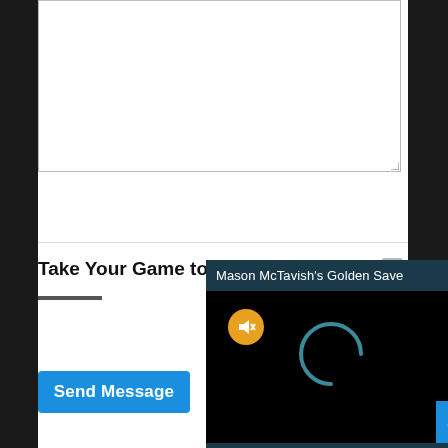[Figure (screenshot): Textarea input field, empty, with resize handle at bottom-right]
[Figure (screenshot): Blue 'Send Message' button]
Take Your Game to the Next Level with:
[Figure (screenshot): Popup video player titled 'Mason McTavish's Golden Save' with mute button and loading spinner on black background, with close (X) button and blue scroll-up arrow button]